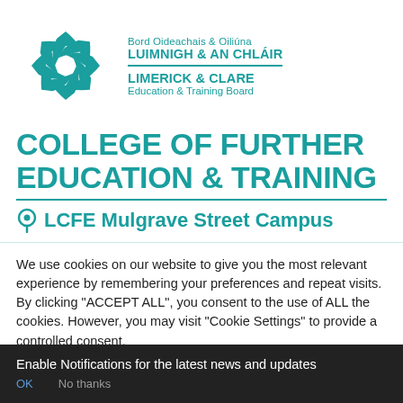[Figure (logo): Limerick & Clare Education & Training Board swirl logo with Irish and English organization name text]
COLLEGE OF FURTHER EDUCATION & TRAINING
LCFE Mulgrave Street Campus
We use cookies on our website to give you the most relevant experience by remembering your preferences and repeat visits. By clicking "ACCEPT ALL", you consent to the use of ALL the cookies. However, you may visit "Cookie Settings" to provide a controlled consent.
Enable Notifications for the latest news and updates
OK   No thanks